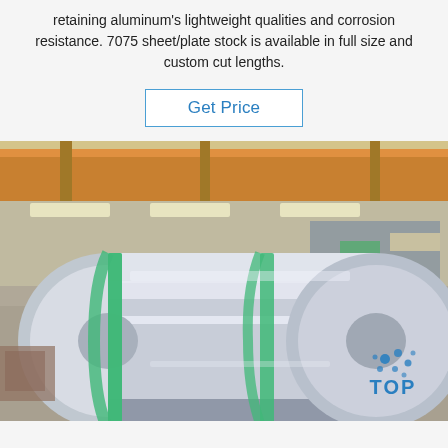retaining aluminum's lightweight qualities and corrosion resistance. 7075 sheet/plate stock is available in full size and custom cut lengths.
Get Price
[Figure (photo): Large industrial aluminum coil/roll on wooden pallet in a factory warehouse, bound with green straps, labeled 638/2308, with overhead crane visible. TOP logo watermark in bottom right.]